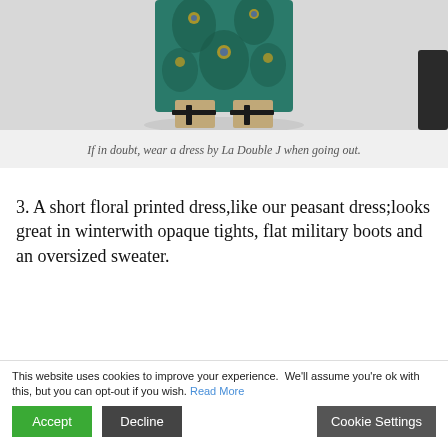[Figure (photo): Bottom portion of a person wearing a colorful floral/peacock print long dress and black sandal heels, photographed against a white studio background]
If in doubt, wear a dress by La Double J when going out.
3. A short floral printed dress,like our peasant dress;looks great in winter with opaque tights, flat military boots and an oversized sweater.
This website uses cookies to improve your experience.  We'll assume you're ok with this, but you can opt-out if you wish. Read More